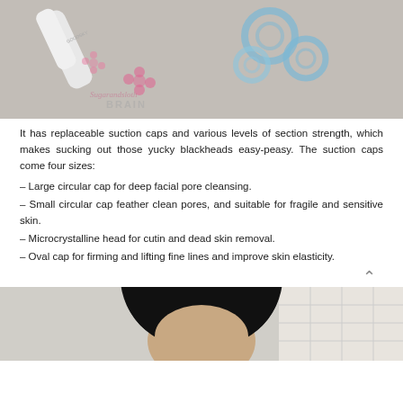[Figure (photo): Photo of a GOODSKY branded blackhead suction device and blue suction caps on a gray fuzzy surface, with a watermark logo overlay]
It has replaceable suction caps and various levels of section strength, which makes sucking out those yucky blackheads easy-peasy. The suction caps come four sizes:
– Large circular cap for deep facial pore cleansing.
– Small circular cap feather clean pores, and suitable for fragile and sensitive skin.
– Microcrystalline head for cutin and dead skin removal.
– Oval cap for firming and lifting fine lines and improve skin elasticity.
[Figure (photo): Photo of a woman with dark hair in a bathroom setting, partially visible from the chin up]